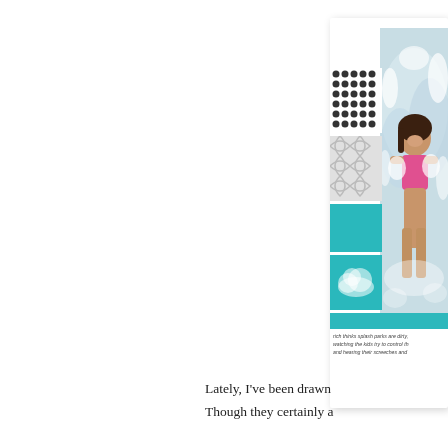[Figure (illustration): A scrapbook-style card layout partially visible on the right side of the page. It features a photo of a smiling girl playing in a splash park with water splashing around her, alongside decorative strips including a black dot pattern, a gray lattice/quatrefoil pattern, a solid teal rectangle, a teal rectangle with a cloud motif, and a teal bottom bar. Below the image area is small italic caption text.]
rich thinks splash parks are dirty, watching the kids try to control th and hearing their screeches and
Lately, I've been drawn
Though they certainly a